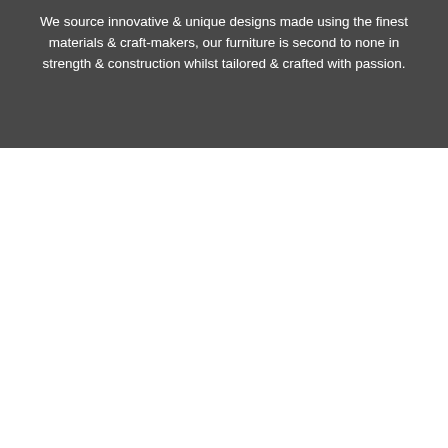We source innovative & unique designs made using the finest materials & craft-makers, our furniture is second to none in strength & construction whilst tailored & crafted with passion.